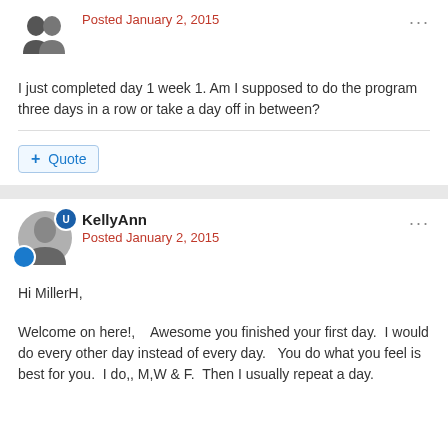[Figure (illustration): User avatar silhouette (two head shapes side by side)]
Posted January 2, 2015
I just completed day 1 week 1. Am I supposed to do the program three days in a row or take a day off in between?
Quote
[Figure (photo): KellyAnn user avatar photo with shield badge and blue circle badge]
KellyAnn
Posted January 2, 2015
Hi MillerH,
Welcome on here!,    Awesome you finished your first day.  I would do every other day instead of every day.   You do what you feel is best for you.  I do,, M,W & F.  Then I usually repeat a day.